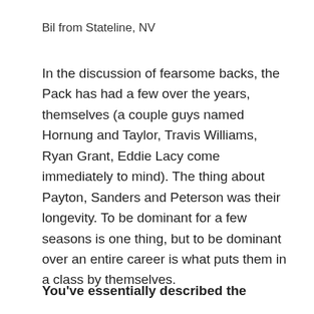Bil from Stateline, NV
In the discussion of fearsome backs, the Pack has had a few over the years, themselves (a couple guys named Hornung and Taylor, Travis Williams, Ryan Grant, Eddie Lacy come immediately to mind). The thing about Payton, Sanders and Peterson was their longevity. To be dominant for a few seasons is one thing, but to be dominant over an entire career is what puts them in a class by themselves.
You've essentially described the